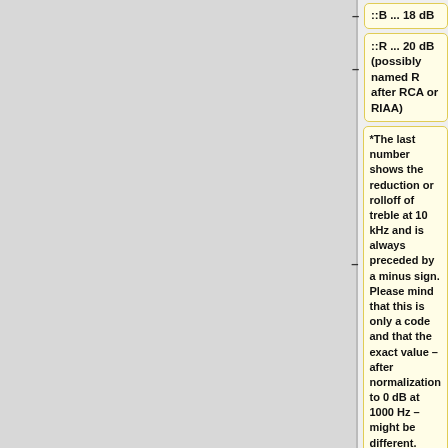::B ... 18 dB
::R ... 20 dB (possibly named R after RCA or RIAA)
*The last number shows the reduction or rolloff of treble at 10 kHz and is always preceded by a minus sign. Please mind that this is only a code and that the exact value – after normalization to 0 dB at 1000 Hz – might be different.
This code can be used to find the correct settings of most equalizer